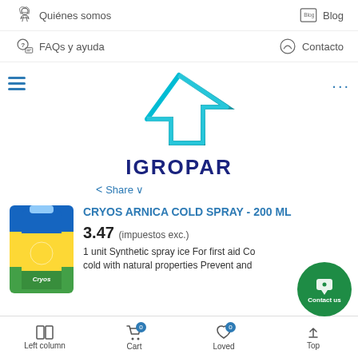Quiénes somos | Blog
FAQs y ayuda | Contacto
[Figure (logo): IGROPAR logo with cyan arrow/bird symbol and dark blue text]
< Share ∨
CRYOS ARNICA COLD SPRAY - 200 ML
3.47 (impuestos exc.)
1 unit Synthetic spray ice For first aid Co... cold with natural properties Prevent and
Left column | Cart 0 | Loved 0 | Top